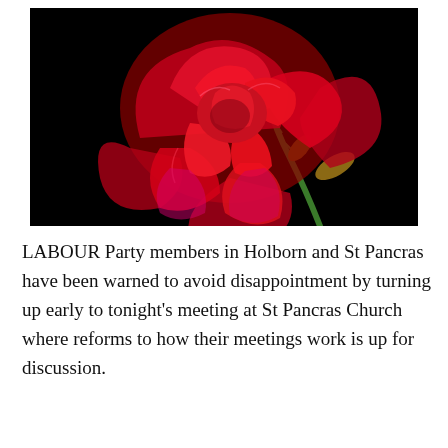[Figure (photo): A close-up photograph of a red rose with detailed petals against a black background, with a green stem and a golden-brown leaf visible.]
LABOUR Party members in Holborn and St Pancras have been warned to avoid disappointment by turning up early to tonight’s meeting at St Pancras Church where reforms to how their meetings work is up for discussion.